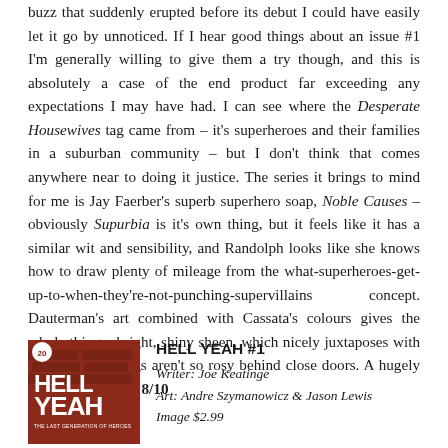buzz that suddenly erupted before its debut I could have easily let it go by unnoticed. If I hear good things about an issue #1 I'm generally willing to give them a try though, and this is absolutely a case of the end product far exceeding any expectations I may have had. I can see where the Desperate Housewives tag came from – it's superheroes and their families in a suburban community – but I don't think that comes anywhere near to doing it justice. The series it brings to mind for me is Jay Faerber's superb superhero soap, Noble Causes – obviously Supurbia is it's own thing, but it feels like it has a similar wit and sensibility, and Randolph looks like she knows how to draw plenty of mileage from the what-superheroes-get-up-to-when-they're-not-punching-supervillains concept. Dauterman's art combined with Cassata's colours gives the whole thing a bright, shiny sheen, which nicely juxtaposes with the idea that things aren't so rosy behind close doors. A hugely promising opener. 8/10
[Figure (illustration): Comic book cover for 'Hell Yeah #1' showing the title in large white text on a red brick background, with a character visible at the bottom. A circular badge with '20' is in the top left corner. Subtitle reads 'The Last Generation of Heroes'.]
HELL YEAH #1
Writer: Joe Keatinge
Art: Andre Szymanowicz & Jason Lewis
Image $2.99